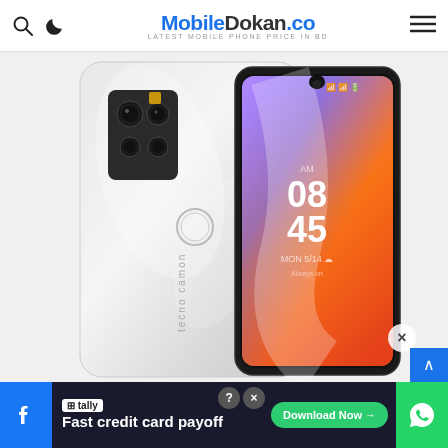MobileDokan.co - Latest Mobile Phone Price in BD
[Figure (photo): Tecno Camon 15 Premier smartphone shown from the back (white pearl finish with quad camera module) and front (showing colorful gradient wallpaper with time 08:45 displayed)]
[Figure (screenshot): Tally advertisement banner: Fast credit card payoff with Download Now button, shown at the bottom of the page alongside Facebook and WhatsApp social icons]